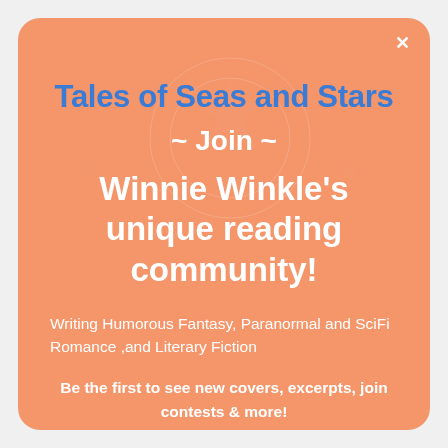Tales of Seas and Stars
~ Join ~
Winnie Winkle's unique reading community!
Writing Humorous Fantasy, Paranormal and SciFi Romance ,and Literary Fiction
Be the first to see new covers, excerpts, join contests & more!